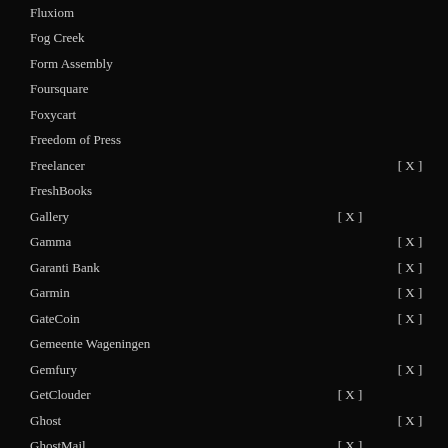Fluxiom
Fog Creek
Form Assembly
Foursquare
Foxycart
Freedom of Press
Freelancer [ X ]
FreshBooks
Gallery [ X ]
Gamma [ X ]
Garanti Bank [ X ]
Garmin [ X ]
GateCoin [ X ]
Gemeente Wageningen
Gemfury [ X ]
GetClouder [ X ]
Ghost [ X ]
GhostMail [ X ]
Ghostscript [ X ]
Giftcards.com
Gimp [ X ]
Github [ X ]
Gitlab
Gittip
GlassWire [ X ]
Gliph
GoAnimate